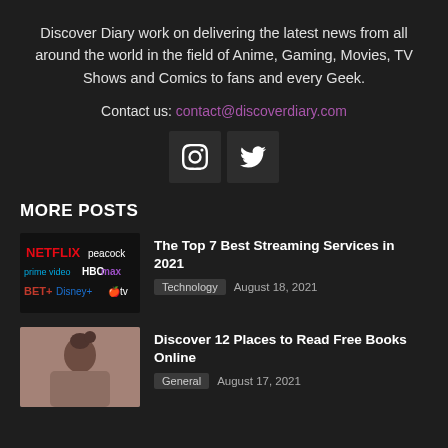Discover Diary work on delivering the latest news from all around the world in the field of Anime, Gaming, Movies, TV Shows and Comics to fans and every Geek.
Contact us: contact@discoverdiary.com
[Figure (illustration): Instagram and Twitter social media icon buttons]
MORE POSTS
[Figure (illustration): Thumbnail image showing logos of streaming services: Netflix, Peacock, Prime Video, HBO Max, BET+, Disney+, Apple TV]
The Top 7 Best Streaming Services in 2021
Technology  August 18, 2021
[Figure (photo): Person reading or browsing online, representing free books online article]
Discover 12 Places to Read Free Books Online
General  August 17, 2021